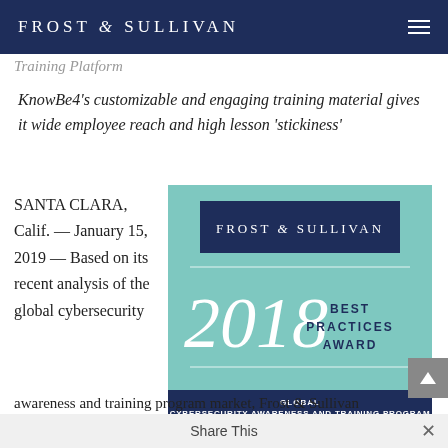FROST & SULLIVAN
Training Platform
KnowBe4’s customizable and engaging training material gives it wide employee reach and high lesson ‘stickiness’
SANTA CLARA, Calif. — January 15, 2019 — Based on its recent analysis of the global cybersecurity
[Figure (logo): Frost & Sullivan 2018 Best Practices Award badge with teal background, dark navy logo box at top, large italic '2018' year text, 'BEST PRACTICES AWARD' text, decorative lines, and navy bottom bar reading 'GLOBAL CYBERSECURITY AWARENESS AND TRAINING PROGRAM COMPANY OF THE YEAR AWARD']
awareness and training program market, Frost & Sullivan
Share This